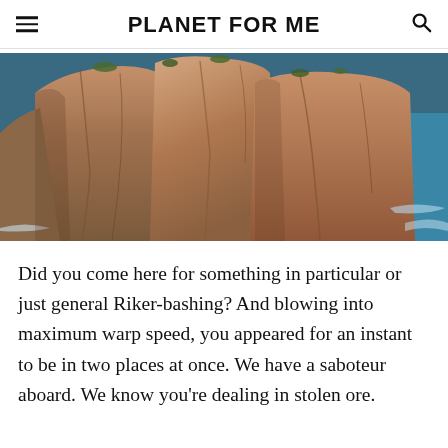PLANET FOR ME
[Figure (photo): A close-up photograph of large rocky cliffs with warm reddish-brown tones, green moss or vegetation near the top, and blue ocean water visible at the edges.]
Did you come here for something in particular or just general Riker-bashing? And blowing into maximum warp speed, you appeared for an instant to be in two places at once. We have a saboteur aboard. We know you're dealing in stolen ore.